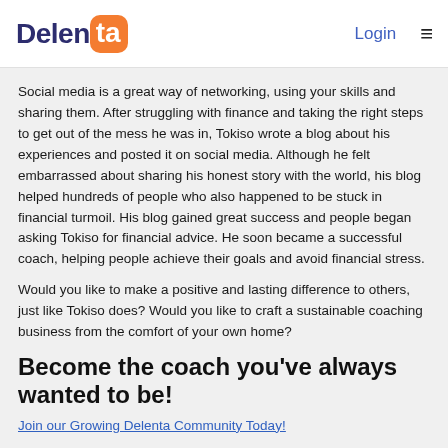Delenta | Login
Social media is a great way of networking, using your skills and sharing them. After struggling with finance and taking the right steps to get out of the mess he was in, Tokiso wrote a blog about his experiences and posted it on social media. Although he felt embarrassed about sharing his honest story with the world, his blog helped hundreds of people who also happened to be stuck in financial turmoil. His blog gained great success and people began asking Tokiso for financial advice. He soon became a successful coach, helping people achieve their goals and avoid financial stress.
Would you like to make a positive and lasting difference to others, just like Tokiso does? Would you like to craft a sustainable coaching business from the comfort of your own home?
Become the coach you've always wanted to be!
Join our Growing Delenta Community Today!